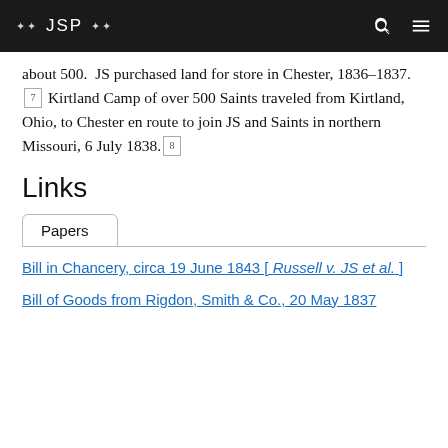JSP
about 500. JS purchased land for store in Chester, 1836–1837. [7] Kirtland Camp of over 500 Saints traveled from Kirtland, Ohio, to Chester en route to join JS and Saints in northern Missouri, 6 July 1838. [8]
Links
Papers
Bill in Chancery, circa 19 June 1843 [ Russell v. JS et al. ]
Bill of Goods from Rigdon, Smith & Co., 20 May 1837